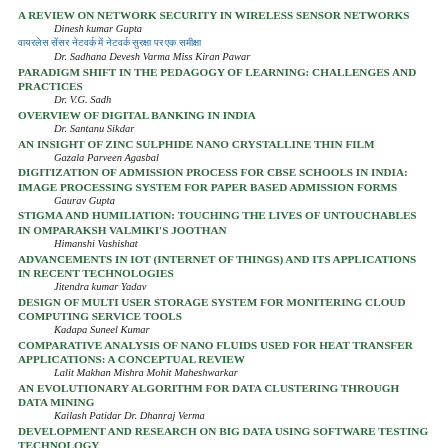A REVIEW ON NETWORK SECURITY IN WIRELESS SENSOR NETWORKS
Dinesh kumar Gupta
वायरलेस सेंसर नेटवर्क में नेटवर्क सुरक्षा पर एक समीक्षा
Dr. Sadhana Devesh Varma Miss Kiran Pawar
PARADIGM SHIFT IN THE PEDAGOGY OF LEARNING: CHALLENGES AND PRACTICES
Dr. V.G. Sadh
OVERVIEW OF DIGITAL BANKING IN INDIA
Dr. Santanu Sikdar
AN INSIGHT OF ZINC SULPHIDE NANO CRYSTALLINE THIN FILM
Gazala Parveen Agasbal
DIGITIZATION OF ADMISSION PROCESS FOR CBSE SCHOOLS IN INDIA: IMAGE PROCESSING SYSTEM FOR PAPER BASED ADMISSION FORMS
Gaurav Gupta
STIGMA AND HUMILIATION: TOUCHING THE LIVES OF UNTOUCHABLES IN OMPARAKSH VALMIKI'S JOOTHAN
Himanshi Vashishat
ADVANCEMENTS IN IOT (INTERNET OF THINGS) AND ITS APPLICATIONS IN RECENT TECHNOLOGIES
Jitendra kumar Yadav
DESIGN OF MULTI USER STORAGE SYSTEM FOR MONITERING CLOUD COMPUTING SERVICE TOOLS
Kadapa Suneel Kumar
COMPARATIVE ANALYSIS OF NANO FLUIDS USED FOR HEAT TRANSFER APPLICATIONS: A CONCEPTUAL REVIEW
Lalit Makhan Mishra Mohit Maheshwarkar
AN EVOLUTIONARY ALGORITHM FOR DATA CLUSTERING THROUGH DATA MINING
Kailash Patidar Dr. Dhanraj Verma
DEVELOPMENT AND RESEARCH ON BIG DATA USING SOFTWARE TESTING TECHNOLOGY